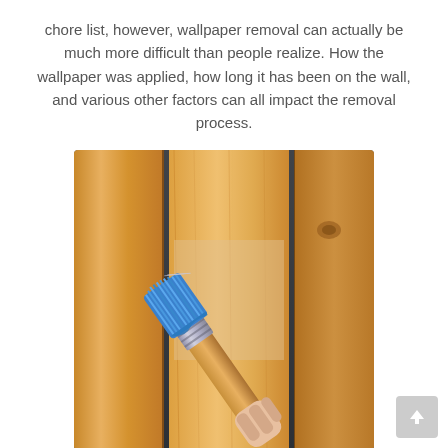chore list, however, wallpaper removal can actually be much more difficult than people realize. How the wallpaper was applied, how long it has been on the wall, and various other factors can all impact the removal process.
[Figure (photo): A hand holding a blue-bristled paintbrush applying liquid to a wooden plank surface, close-up shot.]